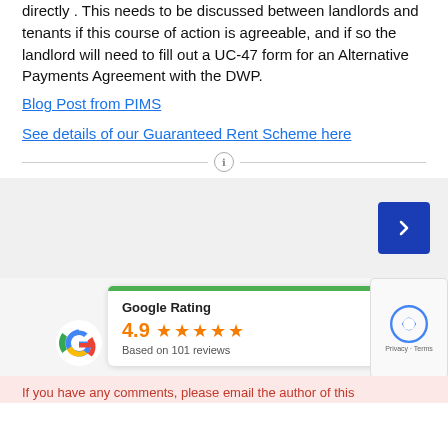directly . This needs to be discussed between landlords and tenants if this course of action is agreeable, and if so the landlord will need to fill out a UC-47 form for an Alternative Payments Agreement with the DWP.
Blog Post from PIMS
See details of our Guaranteed Rent Scheme here
[Figure (screenshot): Navigation section with grey background and blue arrow button pointing right]
[Figure (infographic): Google Rating card showing 4.9 stars based on 101 reviews, with Google G logo and green progress bar at top]
[Figure (screenshot): reCAPTCHA badge with Privacy and Terms links]
If you have any comments, please email the author of this